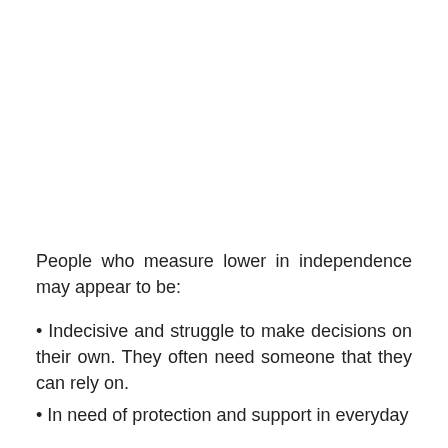People who measure lower in independence may appear to be:
Indecisive and struggle to make decisions on their own. They often need someone that they can rely on.
In need of protection and support in everyday